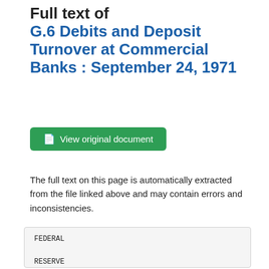Full text of G.6 Debits and Deposit Turnover at Commercial Banks : September 24, 1971
View original document
The full text on this page is automatically extracted from the file linked above and may contain errors and inconsistencies.
FEDERAL

RESERVE

statistical
'*f*Al RE^-'